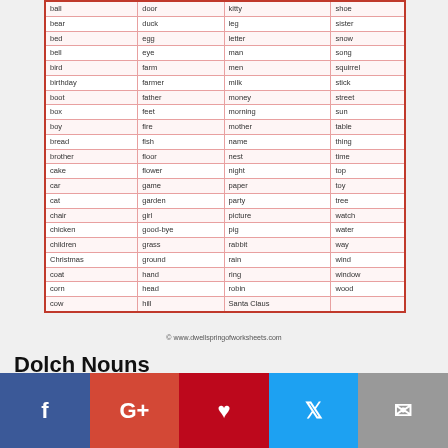|  |  |  |  |
| --- | --- | --- | --- |
| ball | door | kitty | shoe |
| bear | duck | leg | sister |
| bed | egg | letter | snow |
| bell | eye | man | song |
| bird | farm | men | squirrel |
| birthday | farmer | milk | stick |
| boot | father | money | street |
| box | feet | morning | sun |
| boy | fire | mother | table |
| bread | fish | name | thing |
| brother | floor | nest | time |
| cake | flower | night | top |
| car | game | paper | toy |
| cat | garden | party | tree |
| chair | girl | picture | watch |
| chicken | good-bye | pig | water |
| children | grass | rabbit | way |
| Christmas | ground | rain | wind |
| coat | hand | ring | window |
| corn | head | robin | wood |
| cow | hill | Santa Claus |  |
© www.dwellspringofworksheets.com
Dolch Nouns
[Figure (infographic): Social media sharing buttons: Facebook, Google+, Pinterest, Twitter, Email]